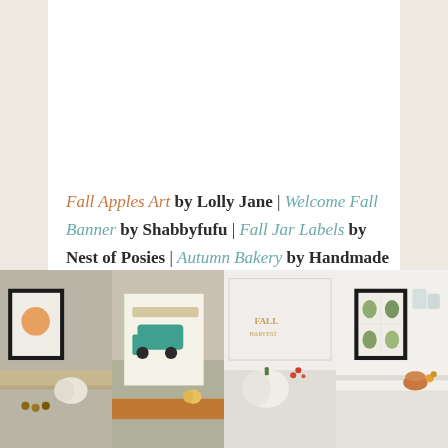Fall Apples Art by Lolly Jane | Welcome Fall Banner by Shabbyfufu | Fall Jar Labels by Nest of Posies | Autumn Bakery by Handmade Farmhouse
[Figure (photo): Four side-by-side lifestyle photos showing fall-themed home decor printables displayed in frames and on shelves: (1) framed apple art on wood shelf with white pumpkin, (2) Happy Harvest truck art print with small pumpkin, (3) white pumpkin with fall jar labels display, (4) framed botanical/herb art on white kitchen shelf]